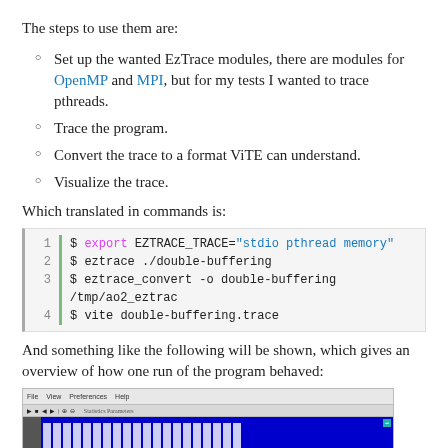The steps to use them are:
Set up the wanted EzTrace modules, there are modules for OpenMP and MPI, but for my tests I wanted to trace pthreads.
Trace the program.
Convert the trace to a format ViTE can understand.
Visualize the trace.
Which translated in commands is:
[Figure (screenshot): Code block showing terminal commands: 1) $ export EZTRACE_TRACE="stdio pthread memory"  2) $ eztrace ./double-buffering  3) $ eztrace_convert -o double-buffering /tmp/ao2_eztrac  4) $ vite double-buffering.trace]
And something like the following will be shown, which gives an overview of how one run of the program behaved:
[Figure (screenshot): Screenshot of ViTE application showing a timeline visualization with blue bars on a dark background representing program execution trace.]